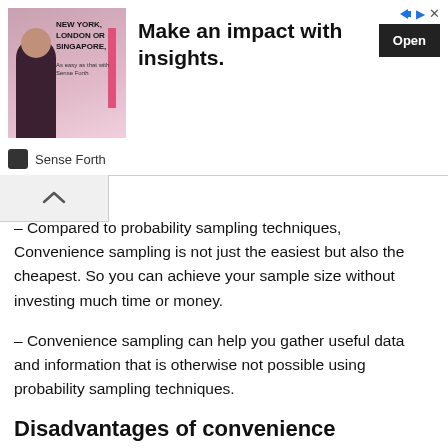[Figure (other): Advertisement banner: image of a man with 'New York, London or Singapore' text, headline 'Make an impact with insights.' and an 'Open' button. Branded by Sense Forth.]
– Compared to probability sampling techniques, Convenience sampling is not just the easiest but also the cheapest. So you can achieve your sample size without investing much time or money.
– Convenience sampling can help you gather useful data and information that is otherwise not possible using probability sampling techniques.
Disadvantages of convenience sampling:
– Major biases can occur in the case of convenience sampling. For example whether you are studying the shopping choices of retail customers or job motivators…